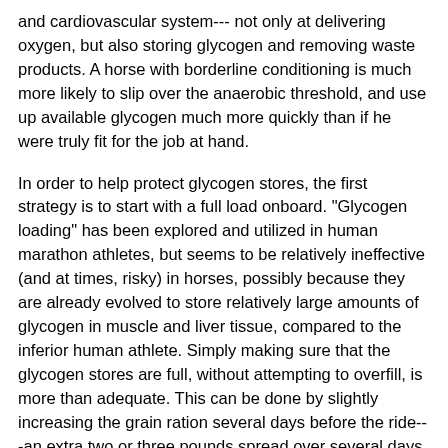and cardiovascular system--- not only at delivering oxygen, but also storing glycogen and removing waste products. A horse with borderline conditioning is much more likely to slip over the anaerobic threshold, and use up available glycogen much more quickly than if he were truly fit for the job at hand.
In order to help protect glycogen stores, the first strategy is to start with a full load onboard. "Glycogen loading" has been explored and utilized in human marathon athletes, but seems to be relatively ineffective (and at times, risky) in horses, possibly because they are already evolved to store relatively large amounts of glycogen in muscle and liver tissue, compared to the inferior human athlete. Simply making sure that the glycogen stores are full, without attempting to overfill, is more than adequate. This can be done by slightly increasing the grain ration several days before the ride---an extra two or three pounds spread over several days is sufficient. If your horse is already consuming significant quantities of grain as part of his regular diet, then adding more is probably unnecessary. Decreasing the intensity of exercise for a day or two before the ride, as normally happens anyway, is enough. If it is part of your normal